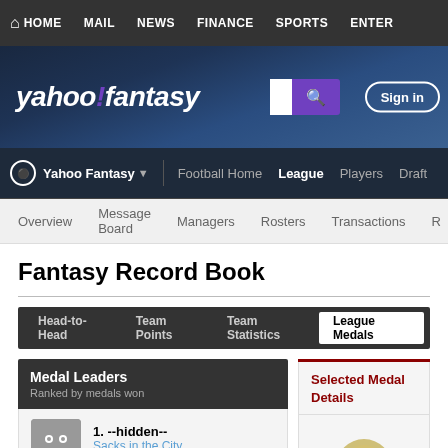HOME  MAIL  NEWS  FINANCE  SPORTS  ENTER
[Figure (logo): Yahoo! Fantasy logo with stadium background, search box, and Sign in button]
Yahoo Fantasy  Football Home  League  Players  Draft
Overview  Message Board  Managers  Rosters  Transactions
Fantasy Record Book
Head-to-Head  Team Points  Team Statistics  League Medals
Medal Leaders
Ranked by medals won
Selected Medal Details
1. --hidden--
Sacks in the City
34 of 58 medals earned